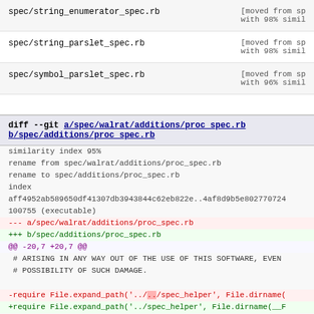spec/string_enumerator_spec.rb   [moved from sp... with 98% simil...
spec/string_parslet_spec.rb   [moved from sp... with 98% simil...
spec/symbol_parslet_spec.rb   [moved from sp... with 96% simil...
diff --git a/spec/walrat/additions/proc spec.rb b/spec/additions/proc spec.rb
similarity index 95%
rename from spec/walrat/additions/proc_spec.rb
rename to spec/additions/proc_spec.rb
index
aff4952ab589650df41307db3943844c62eb822e..4af8d9b5e802770724
100755 (executable)
--- a/spec/walrat/additions/proc_spec.rb
+++ b/spec/additions/proc_spec.rb
@@ -20,7 +20,7 @@
 # ARISING IN ANY WAY OUT OF THE USE OF THIS SOFTWARE, EVEN
 # POSSIBILITY OF SUCH DAMAGE.

-require File.expand_path('../[..]/spec_helper', File.dirname(
+require File.expand_path('../spec_helper', File.dirname(__F

 describe 'proc additions' do